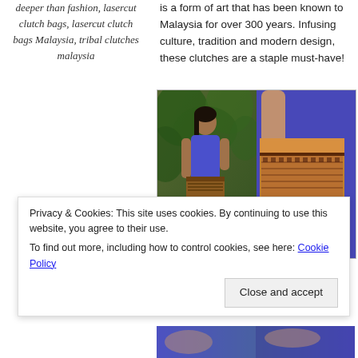deeper than fashion, lasercut clutch bags, lasercut clutch bags Malaysia, tribal clutches malaysia
is a form of art that has been known to Malaysia for over 300 years. Infusing culture, tradition and modern design, these clutches are a staple must-have!
[Figure (photo): Two side-by-side photos of a woman in a blue dress holding a tribal/lasercut patterned clutch bag. Left photo shows the full figure outdoors with green foliage background; right photo is a close-up of the clutch bag against the blue dress.]
Privacy & Cookies: This site uses cookies. By continuing to use this website, you agree to their use.
To find out more, including how to control cookies, see here: Cookie Policy
Close and accept